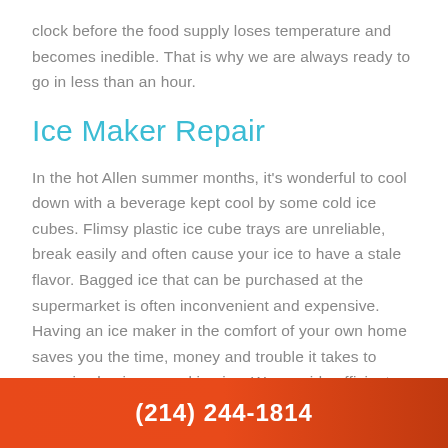clock before the food supply loses temperature and becomes inedible. That is why we are always ready to go in less than an hour.
Ice Maker Repair
In the hot Allen summer months, it's wonderful to cool down with a beverage kept cool by some cold ice cubes. Flimsy plastic ice cube trays are unreliable, break easily and often cause your ice to have a stale flavor. Bagged ice that can be purchased at the supermarket is often inconvenient and expensive. Having an ice maker in the comfort of your own home saves you the time, money and trouble it takes to organize buying or making ice. We provide efficient and affordable ice maker installation and repair in Allen
(214) 244-1814